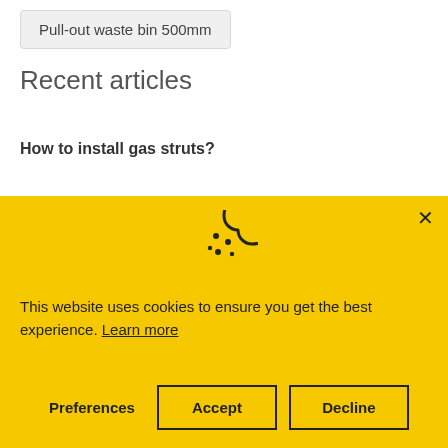Pull-out waste bin 500mm
Recent articles
How to install gas struts?
[Figure (screenshot): Cookie consent banner with yellow background, cookie icon, message 'This website uses cookies to ensure you get the best experience. Learn more', and three buttons: Preferences, Accept, Decline. A close (x) button is in the top right corner.]